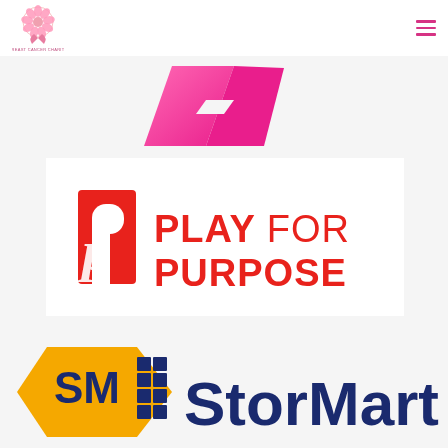Breast Cancer Charity
[Figure (logo): Pink breast cancer awareness ribbon / bow shape in pink/magenta gradient]
[Figure (logo): Play For Purpose logo: red stylized P letter mark with script p overlay, bold red text reading PLAY FOR PURPOSE]
[Figure (logo): StorMart logo: gold hexagonal box shape with SM letters and grid pattern, dark blue bold text reading StorMart]